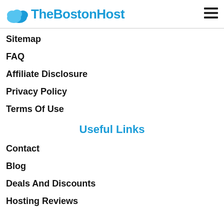TheBostonHost
Sitemap
FAQ
Affiliate Disclosure
Privacy Policy
Terms Of Use
Useful Links
Contact
Blog
Deals And Discounts
Hosting Reviews